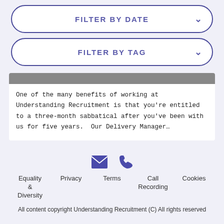[Figure (screenshot): Filter by date dropdown button with rounded border in purple/indigo]
[Figure (screenshot): Filter by tag dropdown button with rounded border in purple/indigo]
One of the many benefits of working at Understanding Recruitment is that you're entitled to a three-month sabbatical after you've been with us for five years. Our Delivery Manager…
[Figure (infographic): Email and phone icons in indigo/purple]
Equality & Diversity
Privacy
Terms
Call Recording
Cookies
All content copyright Understanding Recruitment (C) All rights reserved